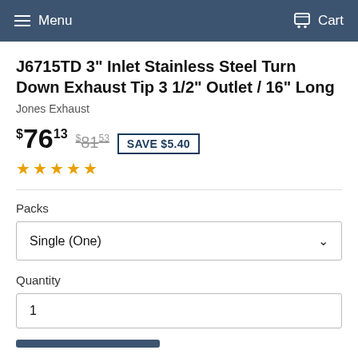Menu  Cart
J6715TD 3" Inlet Stainless Steel Turn Down Exhaust Tip 3 1/2" Outlet / 16" Long
Jones Exhaust
$76.13  $81.53  SAVE $5.40
★★★★★
Packs
Single (One)
Quantity
1